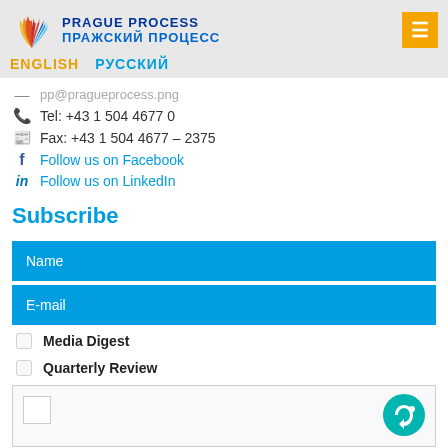PRAGUE PROCESS / ПРАЖСКИЙ ПРОЦЕСС — ENGLISH / РУССКИЙ
Tel: +43 1 504 4677 0
Fax: +43 1 504 4677 – 2375
Follow us on Facebook
Follow us on LinkedIn
Subscribe
Name
E-mail
Media Digest
Quarterly Review